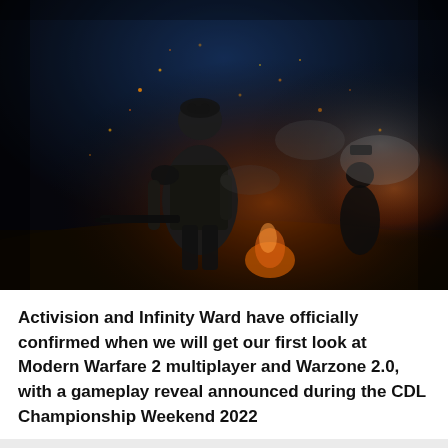[Figure (photo): A soldier in tactical night-vision gear and heavy armor holding a rifle, standing in a dark battlefield scene with fire, smoke, and sparks in the background. Another soldier visible in the right background. Scene from Call of Duty: Modern Warfare 2.]
Activision and Infinity Ward have officially confirmed when we will get our first look at Modern Warfare 2 multiplayer and Warzone 2.0, with a gameplay reveal announced during the CDL Championship Weekend 2022